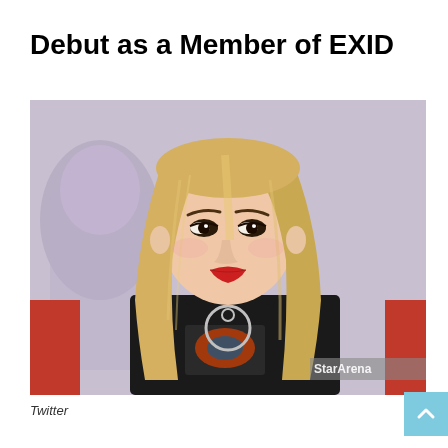Debut as a Member of EXID
[Figure (photo): A young woman with long straight blonde hair, wearing a black t-shirt with a graphic print and a choker necklace with a large ring pendant, sitting in a red chair. Another person is partially visible in the blurred background. A 'StarArena' watermark is visible in the bottom right corner of the image.]
Twitter